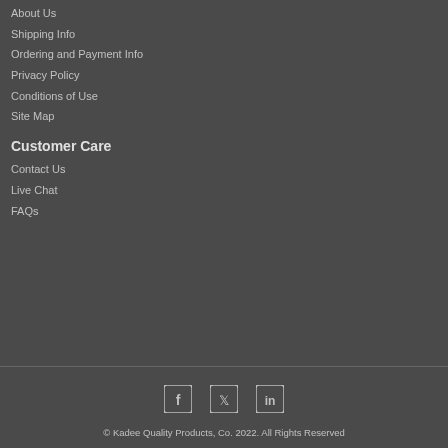About Us
Shipping Info
Ordering and Payment Info
Privacy Policy
Conditions of Use
Site Map
Customer Care
Contact Us
Live Chat
FAQs
[Figure (infographic): Social media icons: Facebook (f), Twitter (bird), LinkedIn (in)]
© Kadee Quality Products, Co. 2022. All Rights Reserved